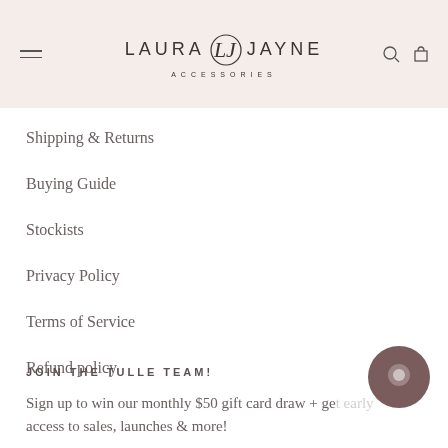[Figure (logo): Laura Jayne Accessories logo with decorative LJ monogram icon, centered in pink/blush header bar with hamburger menu on left and search/cart icons on right]
Shipping & Returns
Buying Guide
Stockists
Privacy Policy
Terms of Service
Refund policy
JOIN THE TULLE TEAM!
Sign up to win our monthly $50 gift card draw + get early access to sales, launches & more!